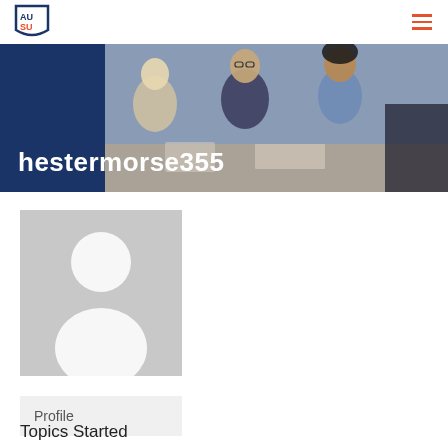AUSU logo and navigation menu
[Figure (photo): Hero banner with dark navy blue background and photo of people sitting at a meeting table in an office, overlaid with username text hestermorse355]
hestermorse355
[Figure (illustration): Default grey user profile avatar placeholder image showing silhouette of a person]
Profile
Topics Started